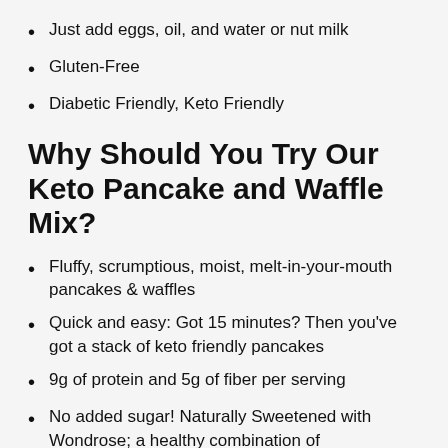Just add eggs, oil, and water or nut milk
Gluten-Free
Diabetic Friendly, Keto Friendly
Why Should You Try Our Keto Pancake and Waffle Mix?
Fluffy, scrumptious, moist, melt-in-your-mouth pancakes & waffles
Quick and easy: Got 15 minutes? Then you've got a stack of keto friendly pancakes
9g of protein and 5g of fiber per serving
No added sugar! Naturally Sweetened with Wondrose; a healthy combination of